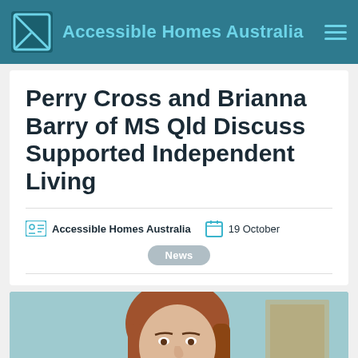Accessible Homes Australia
Perry Cross and Brianna Barry of MS Qld Discuss Supported Independent Living
Accessible Homes Australia   19 October
News
[Figure (photo): Close-up photo of a woman with long reddish-brown hair, looking slightly downward, against a light teal/green background with a framed picture partially visible on the right.]